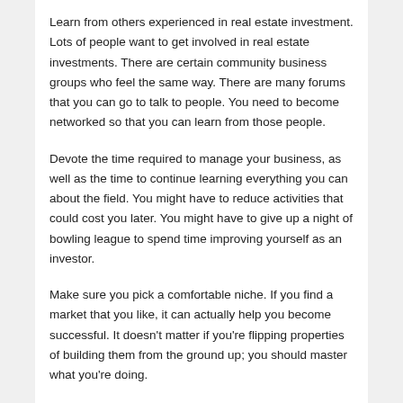Learn from others experienced in real estate investment. Lots of people want to get involved in real estate investments. There are certain community business groups who feel the same way. There are many forums that you can go to talk to people. You need to become networked so that you can learn from those people.
Devote the time required to manage your business, as well as the time to continue learning everything you can about the field. You might have to reduce activities that could cost you later. You might have to give up a night of bowling league to spend time improving yourself as an investor.
Make sure you pick a comfortable niche. If you find a market that you like, it can actually help you become successful. It doesn't matter if you're flipping properties of building them from the ground up; you should master what you're doing.
Interact with others who invest in real estate. The